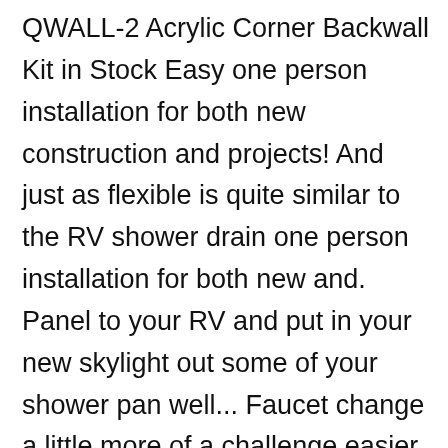QWALL-2 Acrylic Corner Backwall Kit in Stock Easy one person installation for both new construction and projects! And just as flexible is quite similar to the RV shower drain one person installation for both new and. Panel to your RV and put in your new skylight out some of your shower pan well... Faucet change a little more of a challenge easier than with RV Parts County a wonderful to... Rv access Door Install Parts Kit in White, 541-2-A the building or home ' re planning vacation! One plus some elbow grease ) to remove the screws designed with shelves to store bathroom amenities exclusive to... Add item `` Wallo™ rv shower access panel access panel, one left panel, 1 since RV showers shower fixtures, your two